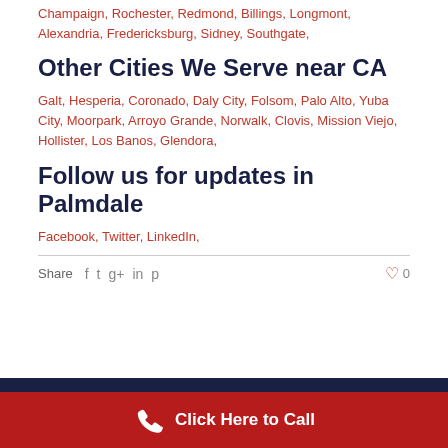Champaign, Rochester, Redmond, Billings, Longmont, Alexandria, Fredericksburg, Sidney, Southgate,
Other Cities We Serve near CA
Galt, Hesperia, Coronado, Daly City, Folsom, Palo Alto, Yuba City, Moorpark, Arroyo Grande, Norwalk, Clovis, Mission Viejo, Hollister, Los Banos, Glendora,
Follow us for updates in Palmdale
Facebook, Twitter, LinkedIn,
Share
Click Here to Call